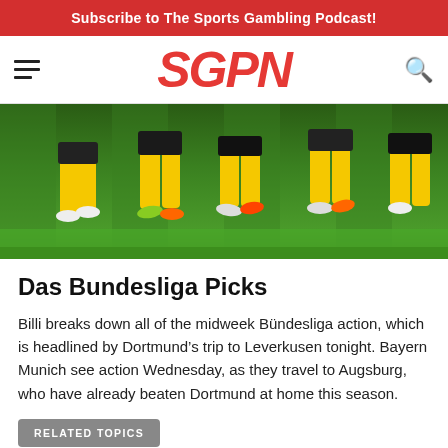Subscribe to The Sports Gambling Podcast!
[Figure (logo): SGPN logo in red italic bold font with hamburger menu icon on left and search icon on right]
[Figure (photo): Soccer players in yellow and black Borussia Dortmund kit running on green grass field, lower body view showing legs and cleats]
Das Bundesliga Picks
Billi breaks down all of the midweek Bündesliga action, which is headlined by Dortmund's trip to Leverkusen tonight. Bayern Munich see action Wednesday, as they travel to Augsburg, who have already beaten Dortmund at home this season.
RELATED TOPICS